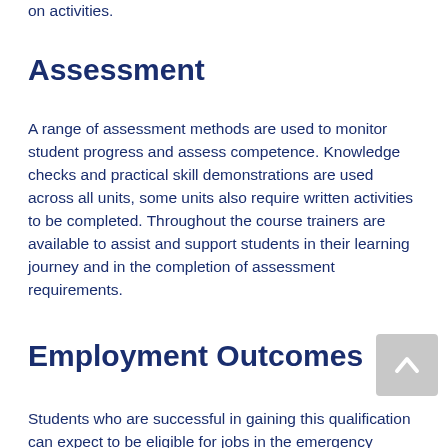on activities.
Assessment
A range of assessment methods are used to monitor student progress and assess competence. Knowledge checks and practical skill demonstrations are used across all units, some units also require written activities to be completed. Throughout the course trainers are available to assist and support students in their learning journey and in the completion of assessment requirements.
Employment Outcomes
Students who are successful in gaining this qualification can expect to be eligible for jobs in the emergency response sector within the mining and resources industry.